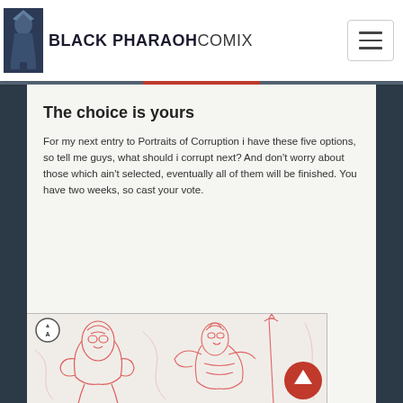BLACK PHARAOH COMIX
The choice is yours
For my next entry to Portraits of Corruption i have these five options, so tell me guys, what should i corrupt next? And don't worry about those which ain't selected, eventually all of them will be finished. You have two weeks, so cast your vote.
[Figure (illustration): Sketch illustration showing armored/robot characters in red pencil lines on white background, with option A marker in top-left corner. A red circle with upward arrow button visible in bottom-right.]